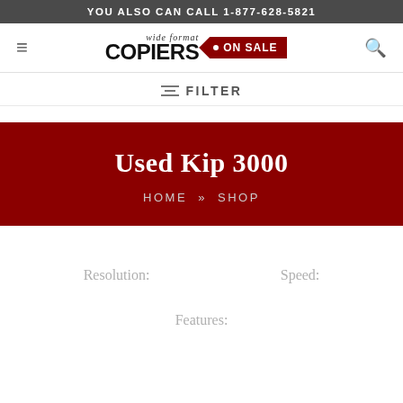YOU ALSO CAN CALL 1-877-628-5821
[Figure (logo): Wide Format Copiers On Sale logo with red tag badge]
FILTER
Used Kip 3000
HOME » SHOP
Resolution:
Speed:
Features: